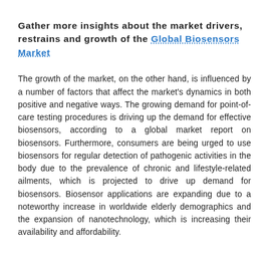Gather more insights about the market drivers, restrains and growth of the Global Biosensors Market
The growth of the market, on the other hand, is influenced by a number of factors that affect the market's dynamics in both positive and negative ways. The growing demand for point-of-care testing procedures is driving up the demand for effective biosensors, according to a global market report on biosensors. Furthermore, consumers are being urged to use biosensors for regular detection of pathogenic activities in the body due to the prevalence of chronic and lifestyle-related ailments, which is projected to drive up demand for biosensors. Biosensor applications are expanding due to a noteworthy increase in worldwide elderly demographics and the expansion of nanotechnology, which is increasing their availability and affordability.